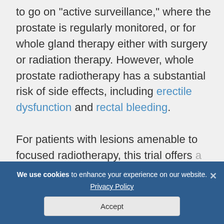to go on “active surveillance,” where the prostate is regularly monitored, or for whole gland therapy either with surgery or radiation therapy. However, whole prostate radiotherapy has a substantial risk of side effects, including erectile dysfunction and rectal bleeding. For patients with lesions amenable to focused radiotherapy, this trial offers a
We use cookies to enhance your experience on our website. Privacy Policy Accept